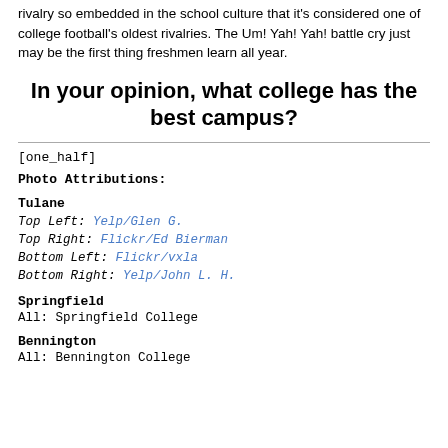the same 21-0000 with Carleton College, upholding a rivalry so embedded in the school culture that it's considered one of college football's oldest rivalries. The Um! Yah! Yah! battle cry just may be the first thing freshmen learn all year.
In your opinion, what college has the best campus?
[one_half]
Photo Attributions:
Tulane
Top Left: Yelp/Glen G.
Top Right: Flickr/Ed Bierman
Bottom Left: Flickr/vxla
Bottom Right: Yelp/John L. H.
Springfield
All: Springfield College
Bennington
All: Bennington College